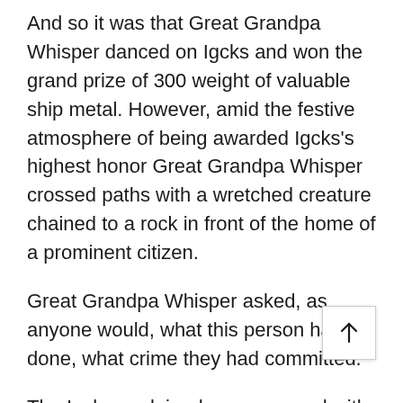And so it was that Great Grandpa Whisper danced on Igcks and won the grand prize of 300 weight of valuable ship metal. However, amid the festive atmosphere of being awarded Igcks's highest honor Great Grandpa Whisper crossed paths with a wretched creature chained to a rock in front of the home of a prominent citizen.
Great Grandpa Whisper asked, as anyone would, what this person had done, what crime they had committed.
The Igcks explained, very amused with the great dancer, that this was no person, but a wild Beast, a lower a who had been captured in the countryside as an infant when the rest